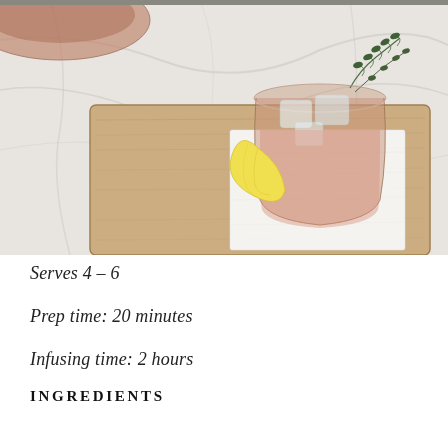[Figure (photo): A cocktail glass with pink/amber iced drink, garnished with a lemon wedge and fresh thyme sprigs, sitting on a white napkin on a wooden cutting board, with a marble surface background.]
Serves 4 – 6
Prep time: 20 minutes
Infusing time: 2 hours
INGREDIENTS